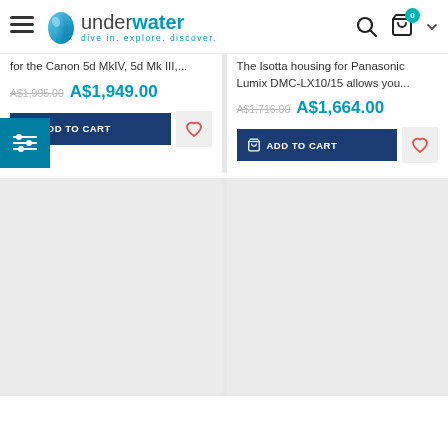underwater - dive in. explore. discover.
for the Canon 5d MkIV, 5d Mk III,...
The Isotta housing for Panasonic Lumix DMC-LX10/15 allows you...
A$1,995.00  A$1,949.00
A$1,716.00  A$1,664.00
ADD TO CART
ADD TO CART
[Figure (screenshot): Empty product image placeholder left]
[Figure (screenshot): Empty product image placeholder right]